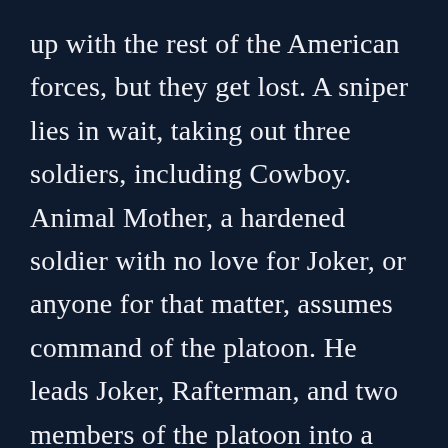up with the rest of the American forces, but they get lost. A sniper lies in wait, taking out three soldiers, including Cowboy. Animal Mother, a hardened soldier with no love for Joker, or anyone for that matter, assumes command of the platoon. He leads Joker, Rafterman, and two members of the platoon into a building where they believe the sniper is located. Joker finds the sniper, a teenage Vietnamese girl, but his gun jams at the moment of truth. Rafterman shoots her down and saves Joker's life. Lying on the floor and bleeding, the girl begs to be killed. Animal Mother demands they leave her to rot, but if she is to be put out of her misery, then he